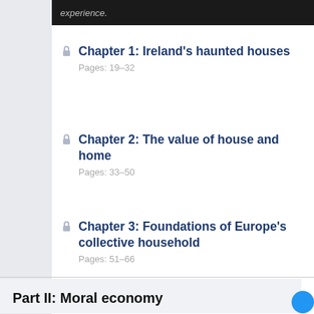experience.
Chapter 1: Ireland's haunted houses
Pages: 19–32
Chapter 2: The value of house and home
Pages: 33–50
Chapter 3: Foundations of Europe's collective household
Pages: 51–66
Part II: Moral economy